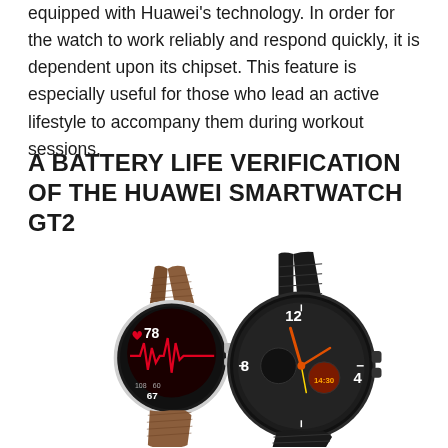equipped with Huawei's technology. In order for the watch to work reliably and respond quickly, it is dependent upon its chipset. This feature is especially useful for those who lead an active lifestyle to accompany them during workout sessions.
A BATTERY LIFE VERIFICATION OF THE HUAWEI SMARTWATCH GT2
[Figure (photo): Two Huawei Smartwatch GT2 models displayed side by side. The left watch has a silver/stainless steel case with a brown leather strap showing a heart rate monitor display (78 bpm). The right watch has a black case with a black rubber sport strap showing a traditional clock face with the time around 10:10.]